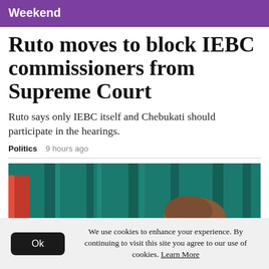Weekend
Ruto moves to block IEBC commissioners from Supreme Court
Ruto says only IEBC itself and Chebukati should participate in the hearings.
Politics   9 hours ago
[Figure (photo): Photo of a person in front of a teal/green curtain backdrop, partially visible, showing upper body and head]
We use cookies to enhance your experience. By continuing to visit this site you agree to our use of cookies. Learn More